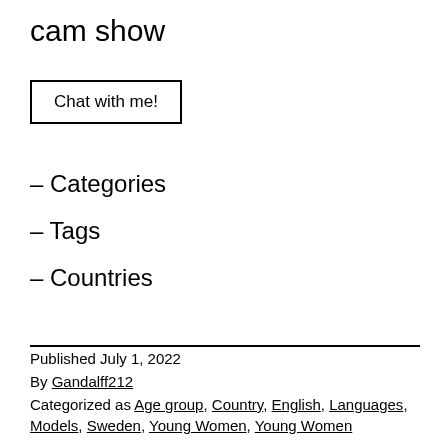cam show
Chat with me!
– Categories
– Tags
– Countries
Published July 1, 2022
By Gandalff212
Categorized as Age group, Country, English, Languages, Models, Sweden, Young Women, Young Women